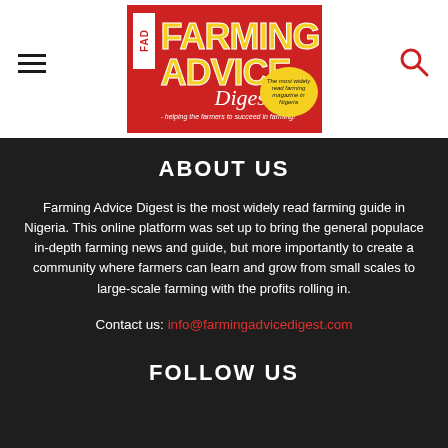[Figure (logo): Farming Advice Digest magazine logo on red background with FAD badge, yellow text, italic Digest subtitle, tagline 'helping the farmers to succeed in farming!', and yellow oval badge reading 'The most widely read farming magazine in Nigeria']
ABOUT US
Farming Advice Digest is the most widely read farming guide in Nigeria. This online platform was set up to bring the general populace in-depth farming news and guide, but more importantly to create a community where farmers can learn and grow from small scales to large-scale farming with the profits rolling in.
Contact us: info@farmingadvicedigest.com
FOLLOW US